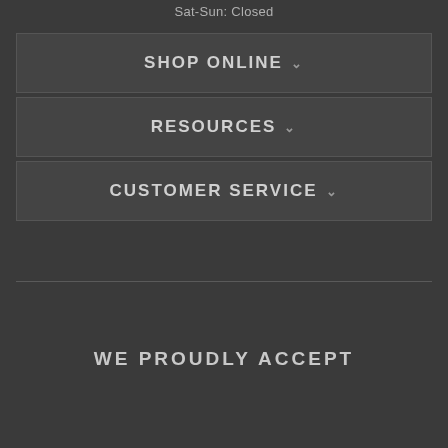Sat-Sun: Closed
SHOP ONLINE
RESOURCES
CUSTOMER SERVICE
WE PROUDLY ACCEPT